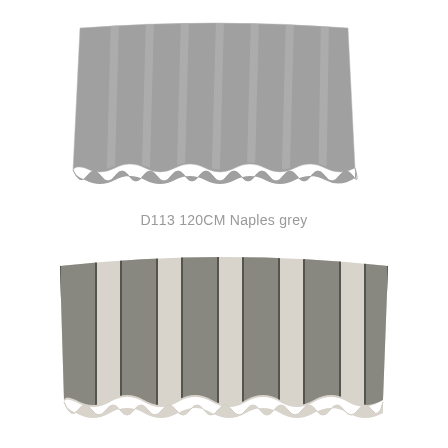[Figure (illustration): Awning illustration showing solid grey striped fabric with scalloped bottom edge, labeled D113 120CM Naples grey]
D113 120CM Naples grey
[Figure (illustration): Awning illustration showing alternating grey and beige/cream wide stripes with scalloped bottom edge]